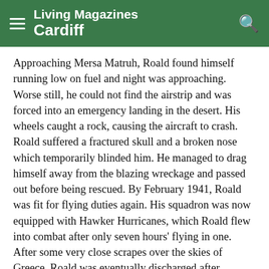Living Magazines Cardiff
Approaching Mersa Matruh, Roald found himself running low on fuel and night was approaching. Worse still, he could not find the airstrip and was forced into an emergency landing in the desert. His wheels caught a rock, causing the aircraft to crash. Roald suffered a fractured skull and a broken nose which temporarily blinded him. He managed to drag himself away from the blazing wreckage and passed out before being rescued. By February 1941, Roald was fit for flying duties again. His squadron was now equipped with Hawker Hurricanes, which Roald flew into combat after only seven hours' flying in one. After some very close scrapes over the skies of Greece, Roald was eventually discharged after suffering blackouts caused by his earlier crash.
He was posted in Washington DC, and began writing about